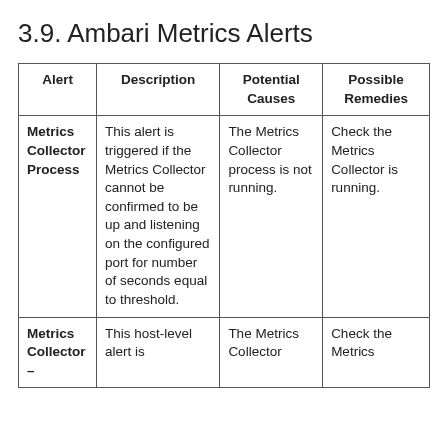3.9. Ambari Metrics Alerts
| Alert | Description | Potential Causes | Possible Remedies |
| --- | --- | --- | --- |
| Metrics Collector Process | This alert is triggered if the Metrics Collector cannot be confirmed to be up and listening on the configured port for number of seconds equal to threshold. | The Metrics Collector process is not running. | Check the Metrics Collector is running. |
| Metrics Collector – | This host-level alert is | The Metrics Collector | Check the Metrics |